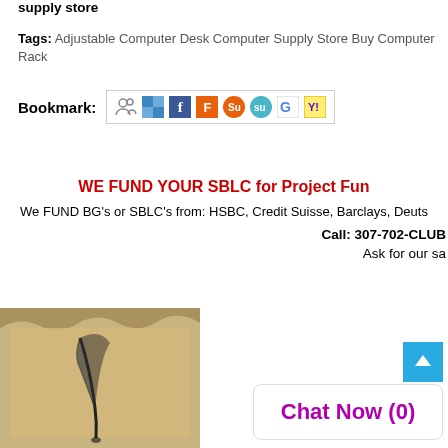supply store
Tags: Adjustable Computer Desk Computer Supply Store Buy Computer Rack
[Figure (infographic): Bookmark social sharing icons row: users icon, Delicious, Facebook, Furl, Stumbleupon, StumbleUpon, Google, Yahoo]
WE FUND YOUR SBLC for Project Fun...
We FUND BG's or SBLC's from: HSBC, Credit Suisse, Barclays, Deuts...
Call: 307-702-CLUB
Ask for our sa...
[Figure (photo): Vintage parchment with quill pen, sepia toned image]
[Figure (screenshot): Chat Now (0) widget popup with blue arrow button]